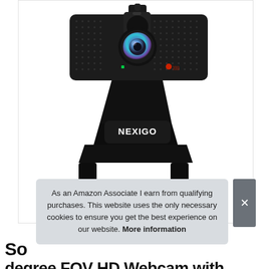[Figure (photo): NexiGo branded webcam with privacy cover, showing a rectangular black camera body with dot-matrix speaker grilles, a central lens with blue/purple iridescent coating, a privacy cover flip on top, green and red LED indicators, mounted on a monitor clip/stand. The NexiGo logo is visible on the mounting arm.]
As an Amazon Associate I earn from qualifying purchases. This website uses the only necessary cookies to ensure you get the best experience on our website. More information
So... degree FOV HD Webcam with